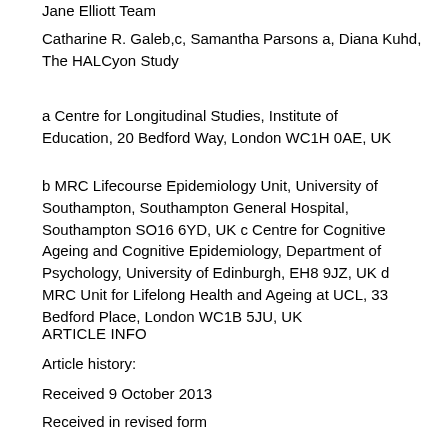Jane Elliott Team
Catharine R. Galeb,c, Samantha Parsons a, Diana Kuhd, The HALCyon Study
a Centre for Longitudinal Studies, Institute of Education, 20 Bedford Way, London WC1H 0AE, UK
b MRC Lifecourse Epidemiology Unit, University of Southampton, Southampton General Hospital, Southampton SO16 6YD, UK c Centre for Cognitive Ageing and Cognitive Epidemiology, Department of Psychology, University of Edinburgh, EH8 9JZ, UK d MRC Unit for Lifelong Health and Ageing at UCL, 33 Bedford Place, London WC1B 5JU, UK
ARTICLE INFO
Article history:
Received 9 October 2013
Received in revised form
7 January 2014
Accepted 17 February 2014